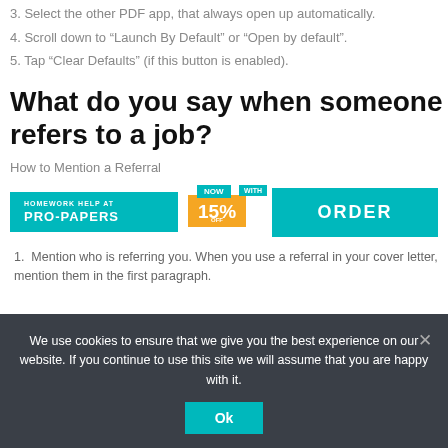3. Select the other PDF app, that always open up automatically.
4. Scroll down to “Launch By Default” or “Open by default”.
5. Tap “Clear Defaults” (if this button is enabled).
What do you say when someone refers to a job?
How to Mention a Referral
[Figure (infographic): Pro-Papers homework help advertisement banner with teal background showing PRO-PAPERS branding, NOW WITH 15% OFF badge in orange and teal, and ORDER button on right]
1. Mention who is referring you. When you use a referral in your cover letter, mention them in the first paragraph.
We use cookies to ensure that we give you the best experience on our website. If you continue to use this site we will assume that you are happy with it.